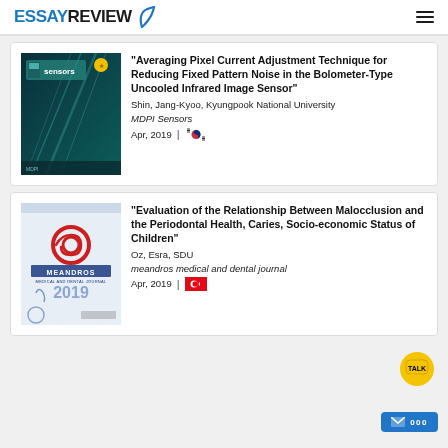ESSAYREVIEW
[Figure (screenshot): Sensors journal cover - teal/dark background with light streaks]
"Averaging Pixel Current Adjustment Technique for Reducing Fixed Pattern Noise in the Bolometer-Type Uncooled Infrared Image Sensor"
Shin, Jang-Kyoo, Kyungpook National University
MDPI Sensors
Apr, 2019 | 🇰🇷
[Figure (screenshot): Meandros medical and dental journal cover]
"Evaluation of the Relationship Between Malocclusion and the Periodontal Health, Caries, Socio-economic Status of Children"
Oz, Esra, SDU
meandros medical and dental journal
Apr, 2019 | 🇹🇷